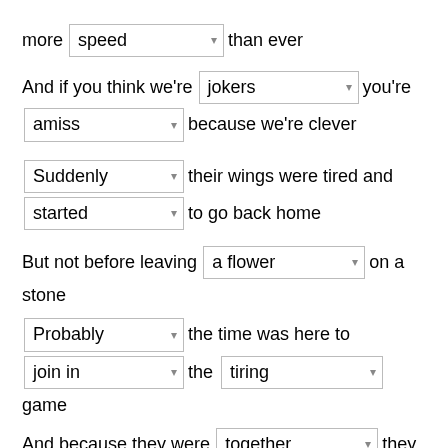more [speed ▾] than ever
And if you think we're [jokers ▾] you're [amiss ▾] because we're clever
[Suddenly ▾] their wings were tired and [started ▾] to go back home
But not before leaving [a flower ▾] on a stone
[Probably ▾] the time was here to [join in ▾] the [tiring ▾] game
And because they were [together ▾] they [took ▾] a fast plane